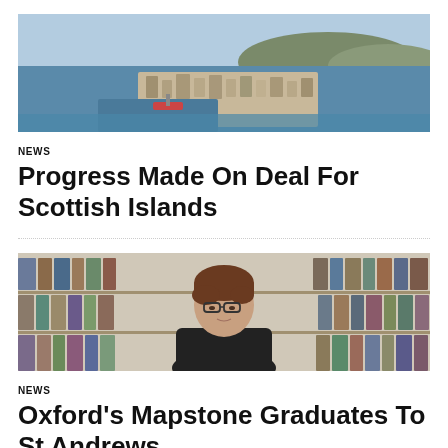[Figure (photo): Aerial photo of a Scottish island town with harbor, dense buildings, blue sea and hills in background]
NEWS
Progress Made On Deal For Scottish Islands
[Figure (photo): Portrait photo of a woman with short brown hair and glasses, wearing a dark top, standing in front of a bookshelf]
NEWS
Oxford's Mapstone Graduates To St Andrews